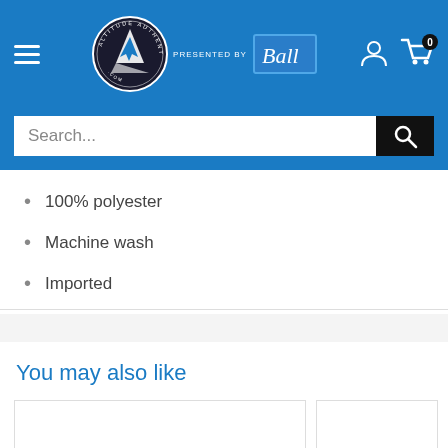[Figure (screenshot): Website header with blue background, hamburger menu, Altitude Authentics logo with 'Presented by Ball' text, user icon, and cart icon with 0 badge]
[Figure (screenshot): Search bar with placeholder text 'Search...' and black search button with magnifying glass icon]
100% polyester
Machine wash
Imported
You may also like
[Figure (photo): Two product card placeholders (white rectangles with border) in a 'You may also like' section]